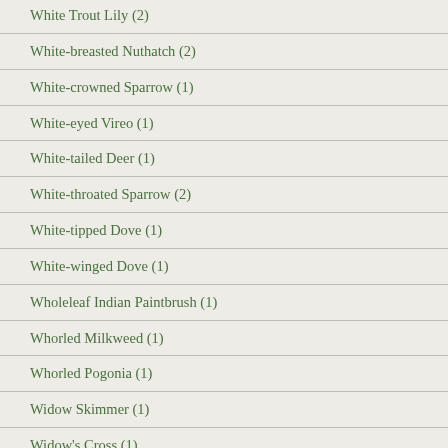White Trout Lily (2)
White-breasted Nuthatch (2)
White-crowned Sparrow (1)
White-eyed Vireo (1)
White-tailed Deer (1)
White-throated Sparrow (2)
White-tipped Dove (1)
White-winged Dove (1)
Wholeleaf Indian Paintbrush (1)
Whorled Milkweed (1)
Whorled Pogonia (1)
Widow Skimmer (1)
Widow's Cross (1)
Wild Blue Phlox (3)
Wild Comfrey (1)